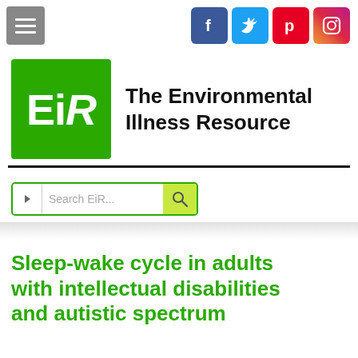[Figure (screenshot): Website header navigation with hamburger menu button on left and social media icons (Facebook, Twitter, Pinterest, Instagram) on right]
[Figure (logo): EiR logo - green square with white bold italic text 'EiR' alongside text 'The Environmental Illness Resource']
[Figure (screenshot): Search bar with green border reading 'Search EiR...' with a yellow-green search button]
Sleep-wake cycle in adults with intellectual disabilities and autistic spectrum